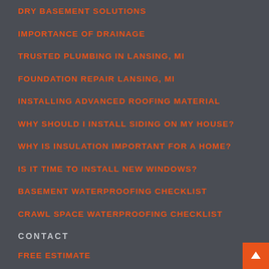DRY BASEMENT SOLUTIONS
IMPORTANCE OF DRAINAGE
TRUSTED PLUMBING IN LANSING, MI
FOUNDATION REPAIR LANSING, MI
INSTALLING ADVANCED ROOFING MATERIAL
WHY SHOULD I INSTALL SIDING ON MY HOUSE?
WHY IS INSULATION IMPORTANT FOR A HOME?
IS IT TIME TO INSTALL NEW WINDOWS?
BASEMENT WATERPROOFING CHECKLIST
CRAWL SPACE WATERPROOFING CHECKLIST
CONTACT
FREE ESTIMATE
SERVICE AREAS
VIDEOS